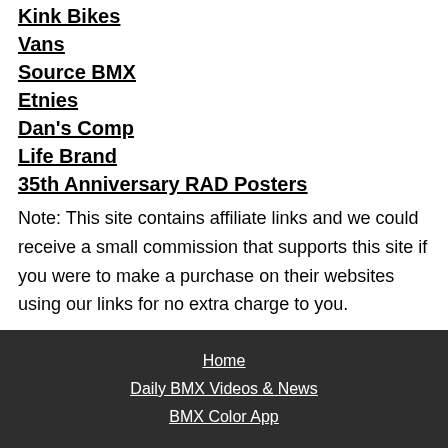Kink Bikes
Vans
Source BMX
Etnies
Dan's Comp
Life Brand
35th Anniversary RAD Posters
Note: This site contains affiliate links and we could receive a small commission that supports this site if you were to make a purchase on their websites using our links for no extra charge to you.
Home
Daily BMX Videos & News
BMX Color App